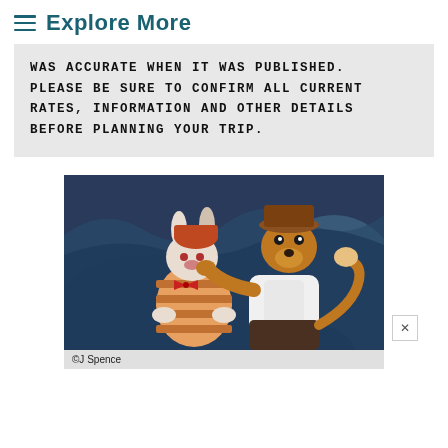≡ Explore More
WAS ACCURATE WHEN IT WAS PUBLISHED. PLEASE BE SURE TO CONFIRM ALL CURRENT RATES, INFORMATION AND OTHER DETAILS BEFORE PLANNING YOUR TRIP.
[Figure (photo): Disney animatronic figures: Brer Rabbit being grabbed by Brer Fox in a cave-like setting. Brer Rabbit is sitting with orange and white striped body, red bow tie. Brer Fox wears a hat and white shirt, reaching toward Brer Rabbit.]
©J Spence